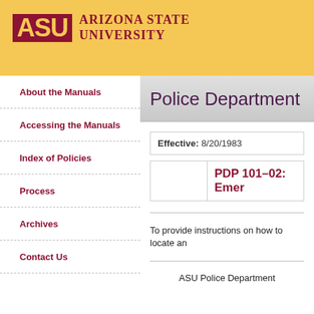[Figure (logo): Arizona State University logo with ASU block letters and full university name]
About the Manuals
Accessing the Manuals
Index of Policies
Process
Archives
Contact Us
Police Department
Effective: 8/20/1983
PDP 101–02: Emer
To provide instructions on how to locate an
ASU Police Department